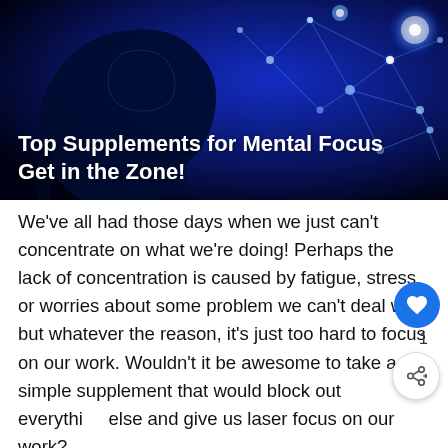[Figure (illustration): Dark blue hero image showing a silhouette of a human head profile with glowing blue neural network / brain connections and light dots on the right side]
Top Supplements for Mental Focus
Get in the Zone!
We've all had those days when we just can't concentrate on what we're doing! Perhaps the lack of concentration is caused by fatigue, stress, or worries about some problem we can't deal with, but whatever the reason, it's just too hard to focus on our work. Wouldn't it be awesome to take a simple supplement that would block out everything else and give us laser focus on our work?
Sadly, it's not that easy! The brain is a highly complex organism, one we still don't understand